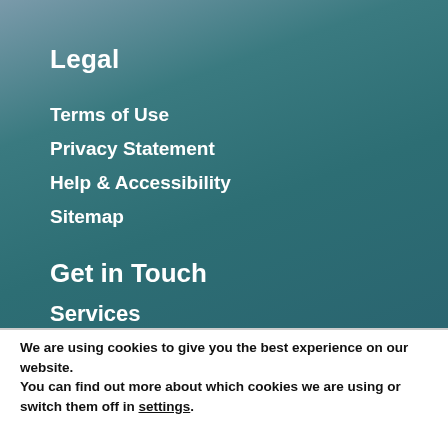Legal
Terms of Use
Privacy Statement
Help & Accessibility
Sitemap
Get in Touch
Services
We are using cookies to give you the best experience on our website.
You can find out more about which cookies we are using or switch them off in settings.
Accept